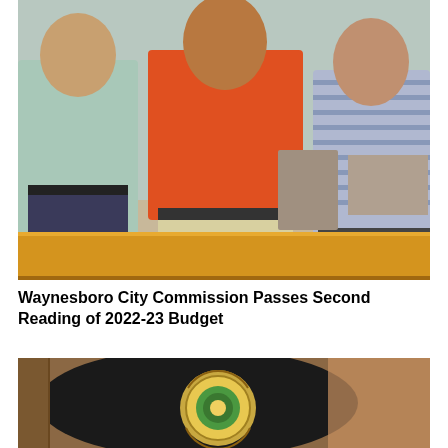[Figure (photo): Three men standing behind a wooden table in what appears to a municipal meeting room. The man on the left wears a light green shirt and dark jeans, the man in the center wears an orange shirt with light khaki shorts and a watch, and the man on the right wears a blue and white striped shirt with jeans.]
Waynesboro City Commission Passes Second Reading of 2022-23 Budget
[Figure (photo): Close-up blurred photo showing what appears to be a law enforcement or government badge/patch with a circular emblem, set against a dark and warm brown background.]